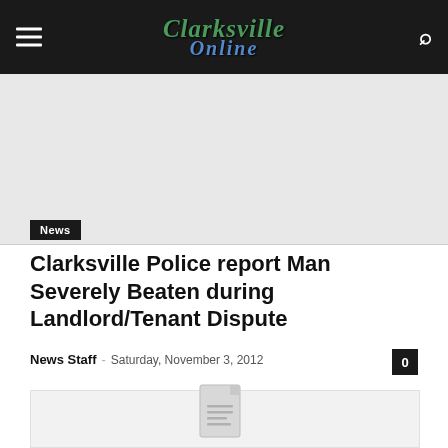Clarksville Online
[Figure (other): Gray image placeholder area at top of article]
News
Clarksville Police report Man Severely Beaten during Landlord/Tenant Dispute
News Staff - Saturday, November 3, 2012
[Figure (other): Article image placeholder with document icon]